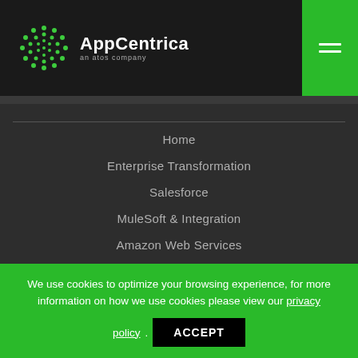AppCentrica an atos company
Home
Enterprise Transformation
Salesforce
MuleSoft & Integration
Amazon Web Services
Google Cloud Platform
Data, Analytics & AI
News & Insights
We use cookies to optimize your browsing experience, for more information on how we use cookies please view our privacy policy. ACCEPT